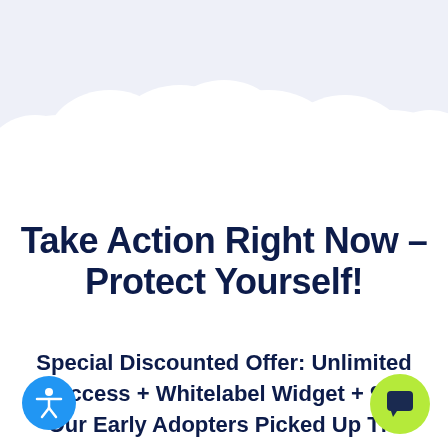[Figure (illustration): Cloud-shaped decorative background at the top of the page with a light blue-grey gradient, overlapping rounded cloud forms in white against pale blue-grey sky.]
Take Action Right Now - Protect Yourself!
Special Discounted Offer: Unlimited Access + Whitelabel Widget + 90 Our Early Adopters Picked Up Thi